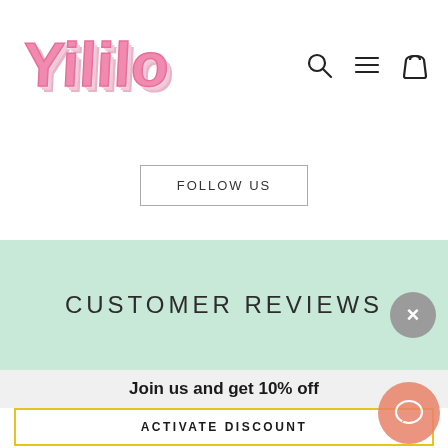[Figure (logo): Yililo brand logo in pink retro bubble font with multicolor shadow layers]
[Figure (infographic): Navigation icons: search (magnifying glass), hamburger menu, shopping bag]
FOLLOW US
CUSTOMER REVIEWS
Join us and get 10% off
ACTIVATE DISCOUNT